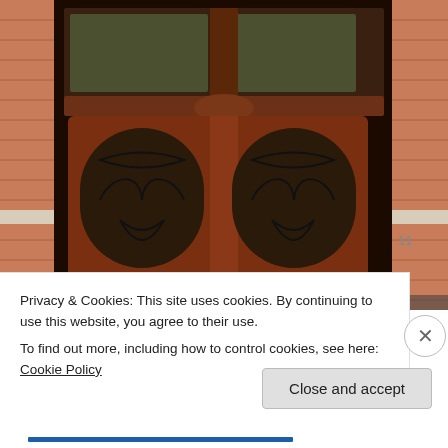[Figure (photo): Photograph of an ornate brick building entrance with large double wooden doors featuring decorative wrought iron scrollwork panels, arched transom windows above, flanked by red brick columns with stone accents. A small white sign and security camera are visible above the doors. The number '11' is visible on the right brick pillar.]
Privacy & Cookies: This site uses cookies. By continuing to use this website, you agree to their use.
To find out more, including how to control cookies, see here: Cookie Policy
Close and accept